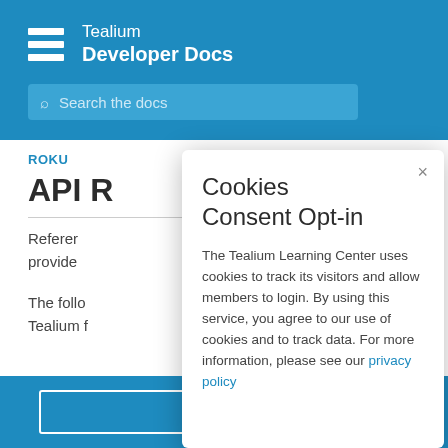Tealium Developer Docs
Search the docs
ROKU
API R...
Reference...methods provide...
The follow...lable in the Tealium f...e written in
[Figure (screenshot): Cookies Consent Opt-in modal dialog with close button, title 'Cookies Consent Opt-in', body text about Tealium Learning Center cookies policy, and a privacy policy link.]
forms